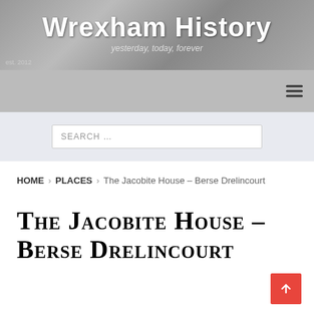[Figure (screenshot): Wrexham History website header banner with greyscale brick/mechanical background image, site title 'Wrexham History' in large white bold text, tagline 'yesterday, today, forever' in italic, and 'est. 2012' badge.]
Wrexham History — yesterday, today, forever — est. 2012
SEARCH …
HOME > PLACES > The Jacobite House – Berse Drelincourt
The Jacobite House – Berse Drelincourt